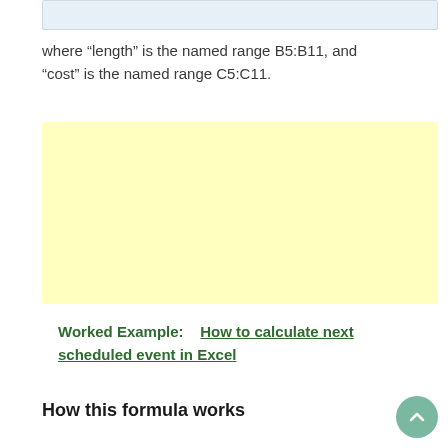[Figure (other): Light blue/grey horizontal bar at top of page, partial view of spreadsheet or content area]
where “length” is the named range B5:B11, and “cost” is the named range C5:C11.
[Figure (other): Yellow highlighted box, likely containing a formula or example (content not visible)]
Worked Example:   How to calculate next scheduled event in Excel
How this formula works